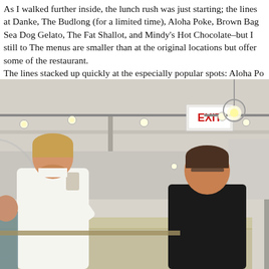As I walked further inside, the lunch rush was just starting; the lines at Danke, The Budlong (for a limited time), Aloha Poke, Brown Bag Sea Dog Gelato, The Fat Shallot, and Mindy's Hot Chocolate–but I still to The menus are smaller than at the original locations but offer some of the restaurant. The lines stacked up quickly at the especially popular spots: Aloha Po
[Figure (photo): Interior photo of a busy food hall during lunch rush. People are standing and waiting in lines. A man in a white shirt with blonde hair is prominent in the foreground on the left. Several other patrons visible. An EXIT sign is visible on the ceiling. Track lighting and pendant lights hang from the ceiling. A digital menu board and an 'Aloha' poke restaurant sign are visible in the background.]